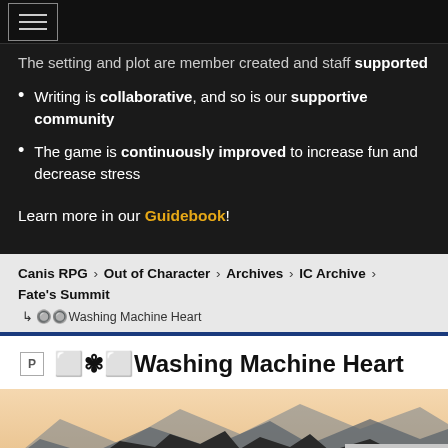The setting and plot are member created and staff supported
Writing is collaborative, and so is our supportive community
The game is continuously improved to increase fun and decrease stress
Learn more in our Guidebook!
Canis RPG › Out of Character › Archives › IC Archive › Fate's Summit
↳ 🔘Washing Machine Heart
🅿 🔲❃🔲Washing Machine Heart
[Figure (photo): Mountain landscape photo at the bottom of the page]